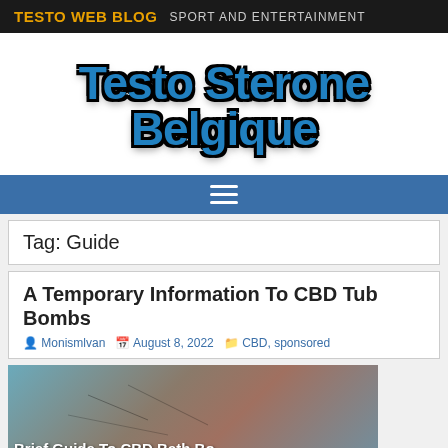TESTO WEB BLOG  SPORT AND ENTERTAINMENT
Testo Sterone Belgique
≡ (navigation menu icon)
Tag: Guide
A Temporary Information To CBD Tub Bombs
Monismlvan  August 8, 2022  CBD, sponsored
[Figure (photo): Thumbnail image with overlay text 'Brief Guide To CBD Bath Bo']